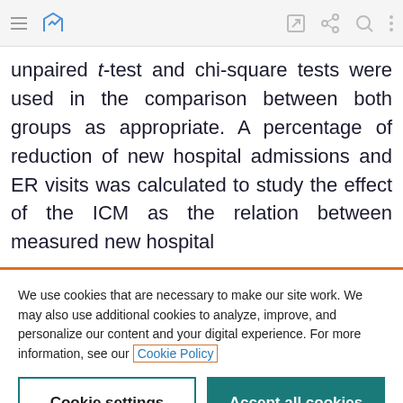Browser toolbar with menu, chart icon, edit, share, search, and more icons
unpaired t-test and chi-square tests were used in the comparison between both groups as appropriate. A percentage of reduction of new hospital admissions and ER visits was calculated to study the effect of the ICM as the relation between measured new hospital
We use cookies that are necessary to make our site work. We may also use additional cookies to analyze, improve, and personalize our content and your digital experience. For more information, see our Cookie Policy
Cookie settings
Accept all cookies